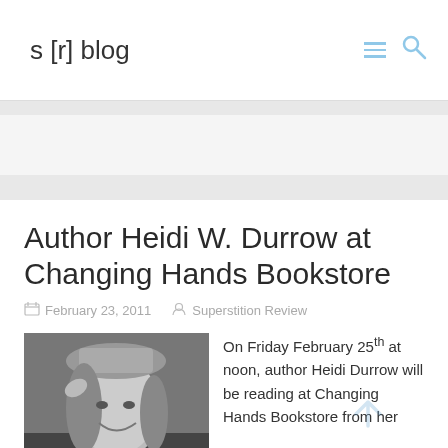s [r] blog
Author Heidi W. Durrow at Changing Hands Bookstore
February 23, 2011   Superstition Review
[Figure (photo): Black and white photo of a smiling woman wearing a hat, looking to the side with hand raised near head]
On Friday February 25th at noon, author Heidi Durrow will be reading at Changing Hands Bookstore from her